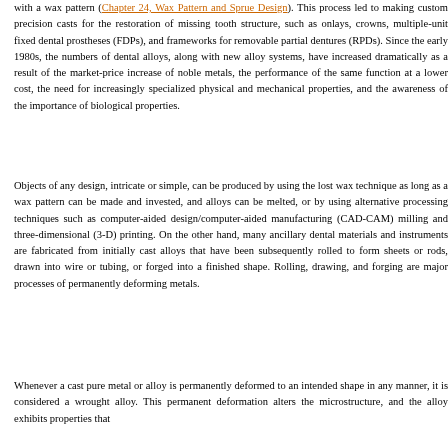with a wax pattern (Chapter 24, Wax Pattern and Sprue Design). This process led to making custom precision casts for the restoration of missing tooth structure, such as onlays, crowns, multiple-unit fixed dental prostheses (FDPs), and frameworks for removable partial dentures (RPDs). Since the early 1980s, the numbers of dental alloys, along with new alloy systems, have increased dramatically as a result of the market-price increase of noble metals, the performance of the same function at a lower cost, the need for increasingly specialized physical and mechanical properties, and the awareness of the importance of biological properties.
Objects of any design, intricate or simple, can be produced by using the lost wax technique as long as a wax pattern can be made and invested, and alloys can be melted, or by using alternative processing techniques such as computer-aided design/computer-aided manufacturing (CAD-CAM) milling and three-dimensional (3-D) printing. On the other hand, many ancillary dental materials and instruments are fabricated from initially cast alloys that have been subsequently rolled to form sheets or rods, drawn into wire or tubing, or forged into a finished shape. Rolling, drawing, and forging are major processes of permanently deforming metals.
Whenever a cast pure metal or alloy is permanently deformed to an intended shape in any manner, it is considered a wrought alloy. This permanent deformation alters the microstructure, and the alloy exhibits properties that